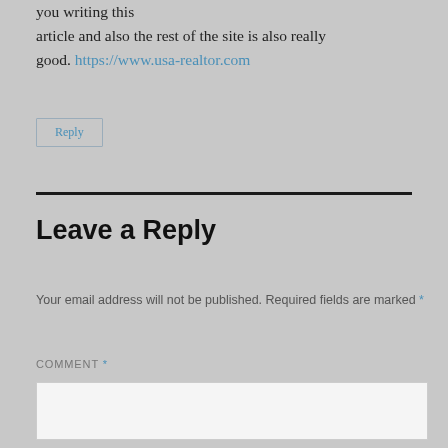you writing this article and also the rest of the site is also really good. https://www.usa-realtor.com
Reply
Leave a Reply
Your email address will not be published. Required fields are marked *
COMMENT *